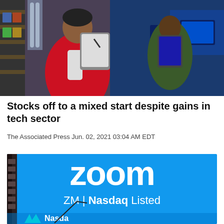[Figure (photo): Person in red jacket holding a tablet device, with another person in background near computer monitors, possibly a trading floor or retail environment]
Stocks off to a mixed start despite gains in tech sector
The Associated Press Jun. 02, 2021 03:04 AM EDT
[Figure (photo): Large digital billboard on a building displaying Zoom logo with text 'ZM | Nasdaq Listed' and Nasdaq branding at the bottom on a bright blue background]